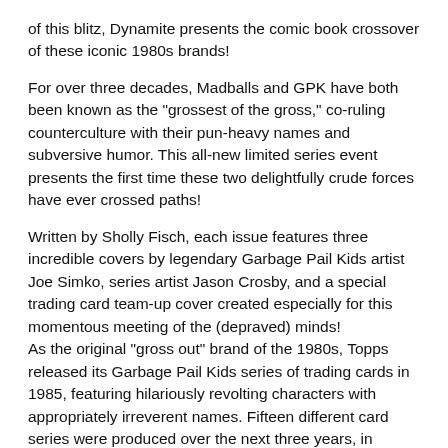of this blitz, Dynamite presents the comic book crossover of these iconic 1980s brands!
For over three decades, Madballs and GPK have both been known as the "grossest of the gross," co-ruling counterculture with their pun-heavy names and subversive humor. This all-new limited series event presents the first time these two delightfully crude forces have ever crossed paths!
Written by Sholly Fisch, each issue features three incredible covers by legendary Garbage Pail Kids artist Joe Simko, series artist Jason Crosby, and a special trading card team-up cover created especially for this momentous meeting of the (depraved) minds!
As the original "gross out" brand of the 1980s, Topps released its Garbage Pail Kids series of trading cards in 1985, featuring hilariously revolting characters with appropriately irreverent names. Fifteen different card series were produced over the next three years, in addition to a Garbage Pail Kids animated series and a full slate of globally licensed consumer products, with ongoing product lines that continues to the present day. Exciting to Madballs fans, but it is an absolutely world tour of...